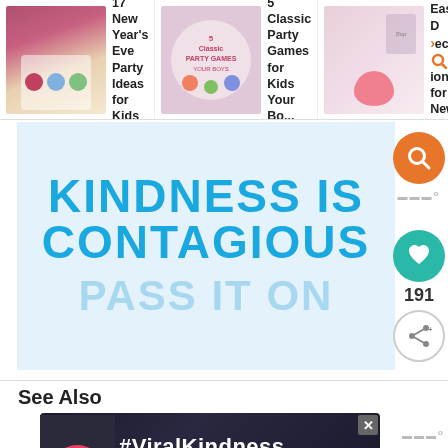[Figure (screenshot): Navigation bar with three article thumbnails: '17 New Year's Eve Party Ideas for Kids', '5 Classic Party Games for Kids Your Bo...', '15 Easy D...>eco...ion for New Ye...']
[Figure (illustration): Light blue inspirational quote card reading 'KINDNESS IS CONTAGIOUS PASS IT ON' in bold blue text on a pale blue background]
[Figure (infographic): Orange circular search button icon on right sidebar]
[Figure (infographic): Teal circular heart/like button with count 191 on right sidebar]
[Figure (infographic): Share button (circle with share icon) on right sidebar]
See Also
[Figure (screenshot): Advertisement banner with dark background showing a rainbow chalk drawing and text '#ViralKindness' with a close button]